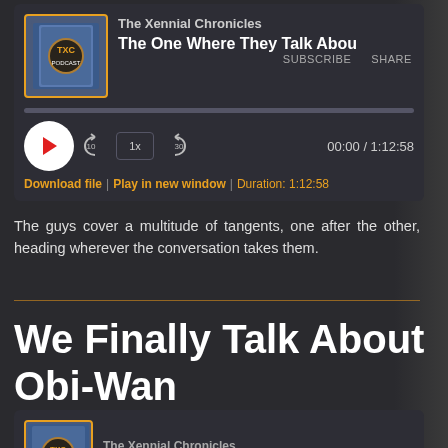[Figure (screenshot): Podcast audio player for The Xennial Chronicles - The One Where They Talk About... episode. Shows album art, play button, skip controls, 1x speed, progress bar, time 00:00 / 1:12:58, Subscribe, Share, Download file, Play in new window, Duration: 1:12:58 links.]
The guys cover a multitude of tangents, one after the other, heading wherever the conversation takes them.
We Finally Talk About Obi-Wan
[Figure (screenshot): Podcast audio player for The Xennial Chronicles - We Finally Talk About Obi-Wan episode.]